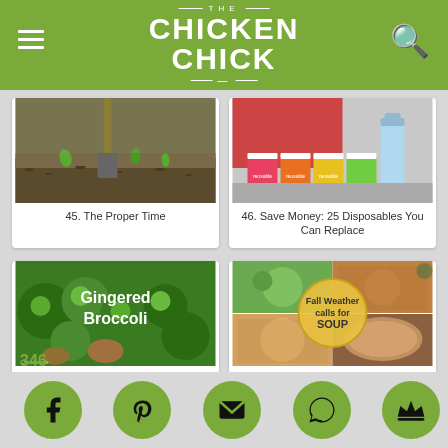THE CHICKEN CHICK
[Figure (photo): Shovel digging soil with small green seedlings]
45. The Proper Time
[Figure (photo): Colorful reusable silicone bags in pink, red, orange, yellow, green]
46. Save Money: 25 Disposables You Can Replace
[Figure (photo): Gingered Broccoli dish with text overlay]
47. Gingered Broccoli
[Figure (photo): Fall Weather calls for SOUP - collage of soup photos with circular text overlay]
48. It's Soup Weather!
[Figure (photo): Partial view of next article image (city/waterfront)]
[Figure (photo): Partial view of next article image (outdoor/nature)]